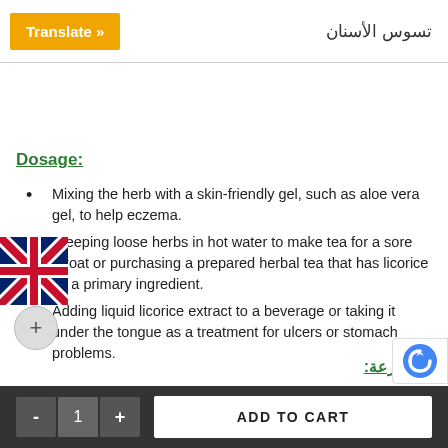Translate » | تسوس الأسنان
Dosage:
[Figure (illustration): UK flag icon in the left margin area]
Mixing the herb with a skin-friendly gel, such as aloe vera gel, to help eczema.
Steeping loose herbs in hot water to make tea for a sore throat or purchasing a prepared herbal tea that has licorice as a primary ingredient.
Adding liquid licorice extract to a beverage or taking it under the tongue as a treatment for ulcers or stomach problems.
الجرعة:
- 1 + ADD TO CART